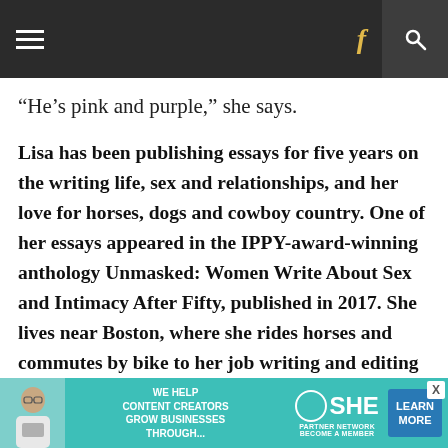Navigation bar with hamburger menu, Facebook icon, and search icon
“He’s pink and purple,” she says.
Lisa has been publishing essays for five years on the writing life, sex and relationships, and her love for horses, dogs and cowboy country. One of her essays appeared in the IPPY-award-winning anthology Unmasked: Women Write About Sex and Intimacy After Fifty, published in 2017. She lives near Boston, where she rides horses and commutes by bike to her job writing and editing
[Figure (advertisement): SHE Media Partner Network advertisement banner: woman with laptop photo, text 'WE HELP CONTENT CREATORS GROW BUSINESSES THROUGH...', SHE logo, and 'LEARN MORE' blue button, teal background]